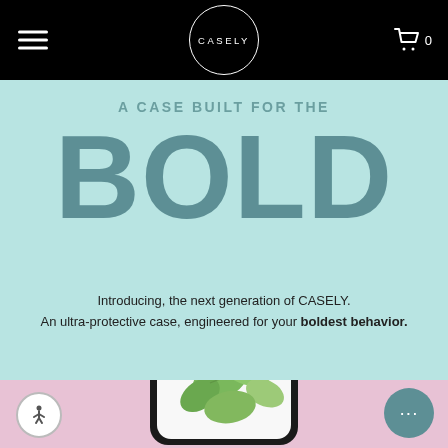[Figure (logo): Casely brand logo: circular border with CASELY text in the center, on black navigation bar with hamburger menu left and cart icon right]
A CASE BUILT FOR THE BOLD
Introducing, the next generation of CASELY. An ultra-protective case, engineered for your boldest behavior.
[Figure (photo): Phone case with botanical leaf pattern on pink background, partially visible at the bottom of the page]